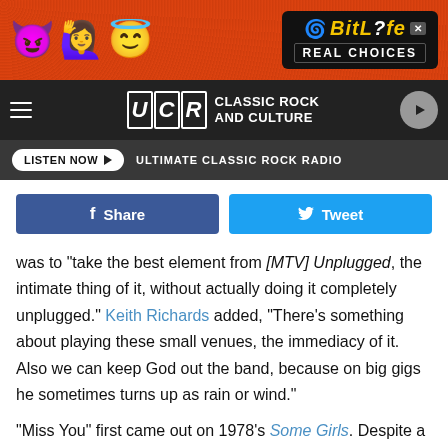[Figure (screenshot): BitLife app advertisement banner with emoji characters on orange/red background. Text reads 'BitLife REAL CHOICES']
UCR CLASSIC ROCK AND CULTURE
LISTEN NOW ▶  ULTIMATE CLASSIC ROCK RADIO
Share   Tweet
was to "take the best element from [MTV] Unplugged, the intimate thing of it, without actually doing it completely unplugged." Keith Richards added, "There's something about playing these small venues, the immediacy of it. Also we can keep God out the band, because on big gigs he sometimes turns up as rain or wind."
"Miss You" first came out on 1978's Some Girls. Despite a controversy about its disco beat, the song reached No. 1 on